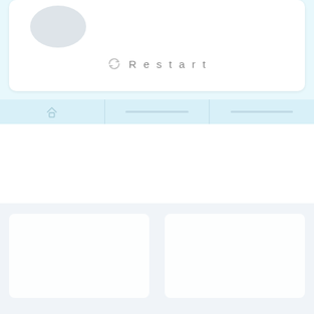[Figure (screenshot): Mobile app UI screenshot showing a white card with a gray avatar circle in the top left, a Restart button with refresh icon in the center, a light blue navigation bar with home icon and dividers below the card, a white middle section, and a light blue-gray bottom section with two white cards.]